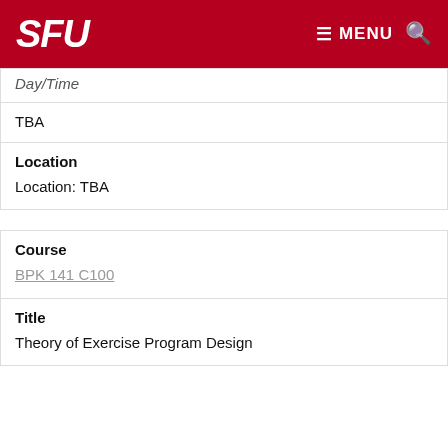SFU MENU
Day/Time
TBA
Location
Location: TBA
Course
BPK 141 C100
Title
Theory of Exercise Program Design